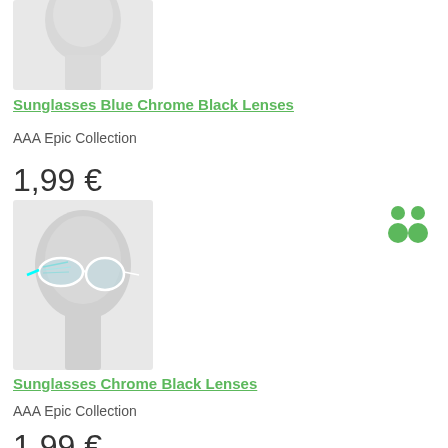[Figure (photo): White mannequin head partially visible at top, cropped]
Sunglasses Blue Chrome Black Lenses
AAA Epic Collection
1,99 €
[Figure (photo): White mannequin head wearing white-framed sunglasses with light blue/chrome lenses]
[Figure (illustration): Two green person/people silhouette icons]
Sunglasses Chrome Black Lenses
AAA Epic Collection
1,99 €